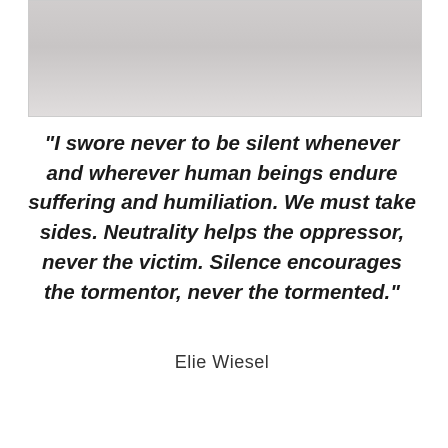[Figure (photo): Partial image at the top of the page, appears to be a grayscale photograph, mostly cropped out of view]
“I swore never to be silent whenever and wherever human beings endure suffering and humiliation. We must take sides. Neutrality helps the oppressor, never the victim. Silence encourages the tormentor, never the tormented.”
Elie Wiesel